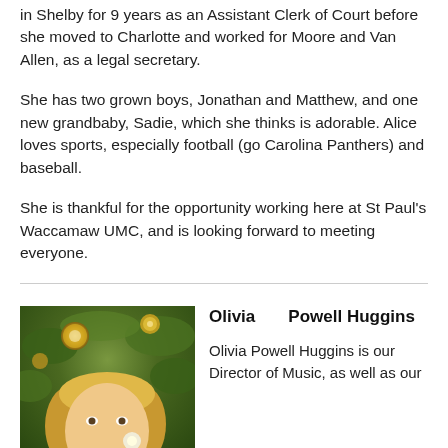in Shelby for 9 years as an Assistant Clerk of Court before she moved to Charlotte and worked for Moore and Van Allen, as a legal secretary.
She has two grown boys, Jonathan and Matthew, and one new grandbaby, Sadie, which she thinks is adorable. Alice loves sports, especially football (go Carolina Panthers) and baseball.
She is thankful for the opportunity working here at St Paul's Waccamaw UMC, and is looking forward to meeting everyone.
[Figure (photo): Photo of Olivia Powell Huggins, a blonde woman smiling in front of a Christmas tree with gold ornaments]
Olivia Powell Huggins
Olivia Powell Huggins is our Director of Music, as well as our